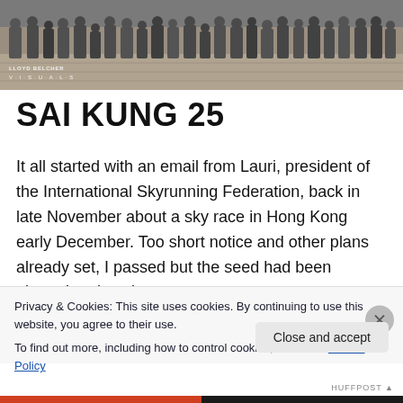[Figure (photo): Group photo of runners standing and crouching in front of a stone wall, taken outdoors. Watermark reads 'LLOYD BELCHER VISUALS' in bottom-left corner.]
SAI KUNG 25
It all started with an email from Lauri, president of the International Skyrunning Federation, back in late November about a sky race in Hong Kong early December. Too short notice and other plans already set, I passed but the seed had been planted and my interest
Privacy & Cookies: This site uses cookies. By continuing to use this website, you agree to their use.
To find out more, including how to control cookies, see here: Cookie Policy